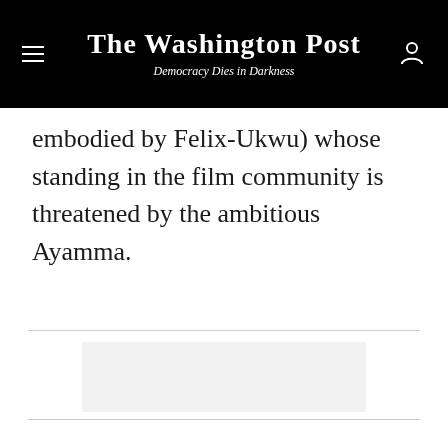The Washington Post — Democracy Dies in Darkness
embodied by Felix-Ukwu) whose standing in the film community is threatened by the ambitious Ayamma.
[Figure (other): Gray advertisement placeholder box]